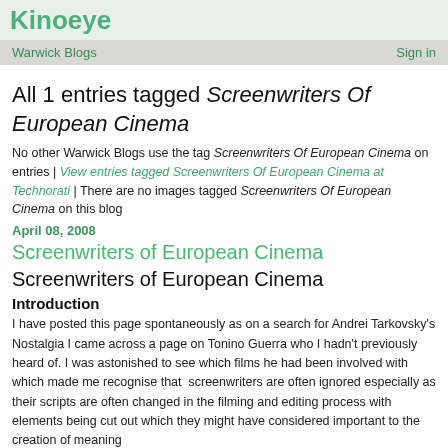Kinoeye
Warwick Blogs | Sign in
All 1 entries tagged Screenwriters Of European Cinema
No other Warwick Blogs use the tag Screenwriters Of European Cinema on entries | View entries tagged Screenwriters Of European Cinema at Technorati | There are no images tagged Screenwriters Of European Cinema on this blog
April 08, 2008
Screenwriters of European Cinema
Screenwriters of European Cinema
Introduction
I have posted this page spontaneously as on a search for Andrei Tarkovsky's Nostalgia I came across a page on Tonino Guerra who I hadn't previously heard of. I was astonished to see which films he had been involved with which made me recognise that  screenwriters are often ignored especially as their scripts are often changed in the filming and editing process with elements being cut out which they might have considered important to the creation of meaning